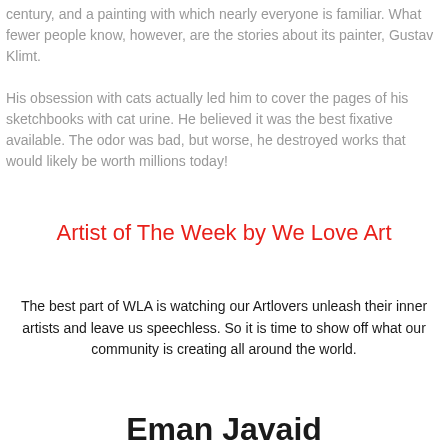century, and a painting with which nearly everyone is familiar. What fewer people know, however, are the stories about its painter, Gustav Klimt.
His obsession with cats actually led him to cover the pages of his sketchbooks with cat urine. He believed it was the best fixative available. The odor was bad, but worse, he destroyed works that would likely be worth millions today!
Artist of The Week by We Love Art
The best part of WLA is watching our Artlovers unleash their inner artists and leave us speechless. So it is time to show off what our community is creating all around the world.
Eman Javaid